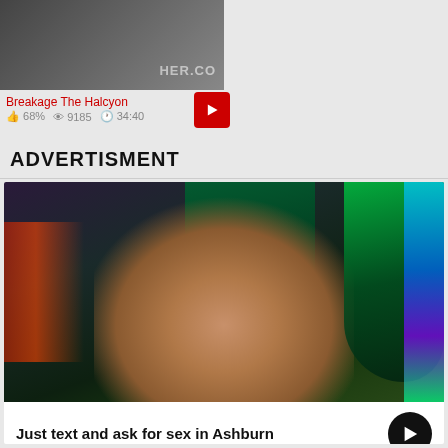[Figure (screenshot): Video thumbnail with dark overlay and watermark text 'HER.CO']
Breakage The Halcyon
👍 68%  👁 9185  🕐 34:40
ADVERTISMENT
[Figure (photo): Young woman with green-highlighted hair smiling in arcade/entertainment venue with colorful neon lighting]
Just text and ask for sex in Ashburn